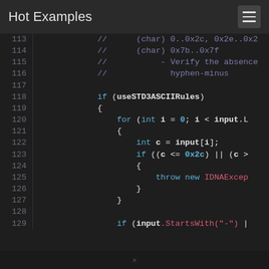Hot Examples
[Figure (screenshot): Code editor screenshot showing C# code lines 113-129 with syntax highlighting on dark background. Lines show comments about char ranges, STD3 ASCII rules validation loop, and StartsWith check.]